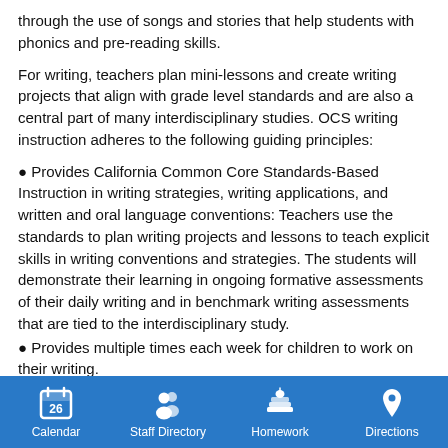through the use of songs and stories that help students with phonics and pre-reading skills.
For writing, teachers plan mini-lessons and create writing projects that align with grade level standards and are also a central part of many interdisciplinary studies. OCS writing instruction adheres to the following guiding principles:
Provides California Common Core Standards-Based Instruction in writing strategies, writing applications, and written and oral language conventions: Teachers use the standards to plan writing projects and lessons to teach explicit skills in writing conventions and strategies. The students will demonstrate their learning in ongoing formative assessments of their daily writing and in benchmark writing assessments that are tied to the interdisciplinary study.
Provides multiple times each week for children to work on their writing.
During each day's writing workshop, children rehearse,
Calendar  Staff Directory  Homework  Directions